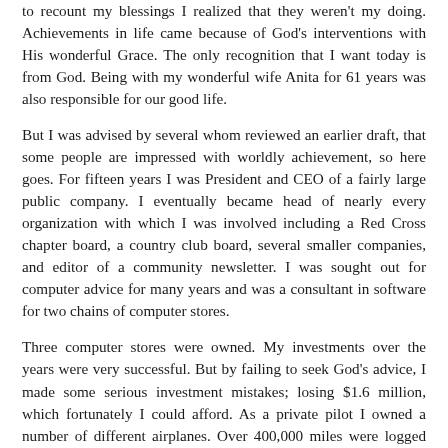to recount my blessings I realized that they weren't my doing. Achievements in life came because of God's interventions with His wonderful Grace. The only recognition that I want today is from God. Being with my wonderful wife Anita for 61 years was also responsible for our good life.
But I was advised by several whom reviewed an earlier draft, that some people are impressed with worldly achievement, so here goes. For fifteen years I was President and CEO of a fairly large public company. I eventually became head of nearly every organization with which I was involved including a Red Cross chapter board, a country club board, several smaller companies, and editor of a community newsletter. I was sought out for computer advice for many years and was a consultant in software for two chains of computer stores.
Three computer stores were owned. My investments over the years were very successful. But by failing to seek God's advice, I made some serious investment mistakes; losing $1.6 million, which fortunately I could afford. As a private pilot I owned a number of different airplanes. Over 400,000 miles were logged for business and pleasure, a lot of it over rugged terrain. I had some amusing experiences while flying all over Mexico and the Caribbean. I was able to travel to many countries and visited every state and all but one Canadian Province. I know now that God